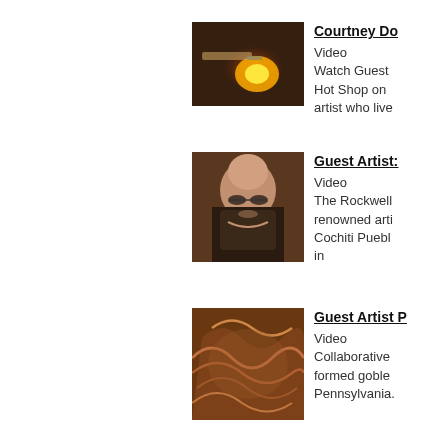[Figure (photo): Person using a torch/flame tool, glassblowing in a hot shop]
Courtney Do...
Video
Watch Guest... Hot Shop on... artist who live...
[Figure (photo): Person with glasses gesturing with hand, smiling]
Guest Artist:...
Video
The Rockwell... renowned arti... Cochiti Puebl... in
[Figure (photo): Close-up of a textured brown goblet or ceramic surface with swirling patterns]
Guest Artist P...
Video
Collaborative... formed goble... Pennsylvania.